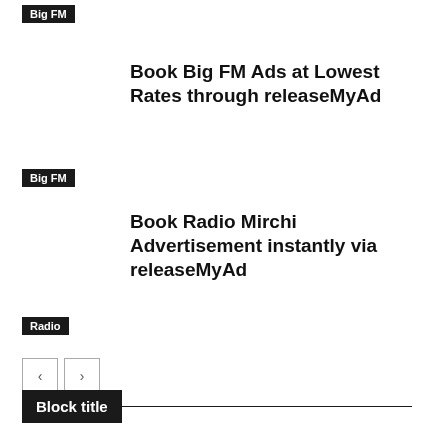Big FM
Book Big FM Ads at Lowest Rates through releaseMyAd
Big FM
Book Radio Mirchi Advertisement instantly via releaseMyAd
Radio
[Figure (other): Pagination navigation buttons: left arrow and right arrow]
Block title